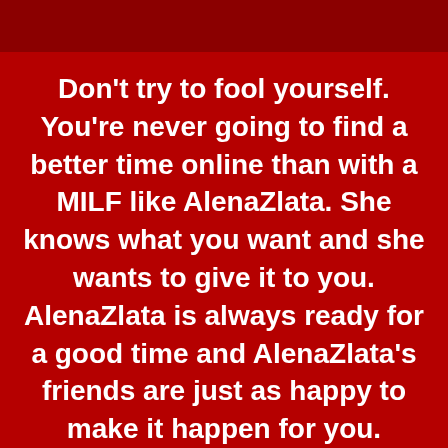Don't try to fool yourself. You're never going to find a better time online than with a MILF like AlenaZlata. She knows what you want and she wants to give it to you. AlenaZlata is always ready for a good time and AlenaZlata's friends are just as happy to make it happen for you.